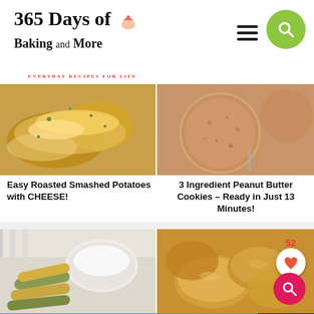365 Days of Baking and More — EVERYDAY RECIPES FOR LIFE
[Figure (photo): Easy Roasted Smashed Potatoes with CHEESE — melted cheese on top of smashed potatoes]
[Figure (photo): 3 Ingredient Peanut Butter Cookies — close-up of round peanut butter cookies]
Easy Roasted Smashed Potatoes with CHEESE!
3 Ingredient Peanut Butter Cookies – Ready in Just 13 Minutes!
[Figure (photo): Zucchini fries with white dipping sauce]
[Figure (photo): Crispy chicken pieces with heart/search badges showing 52 likes]
"You okay?"